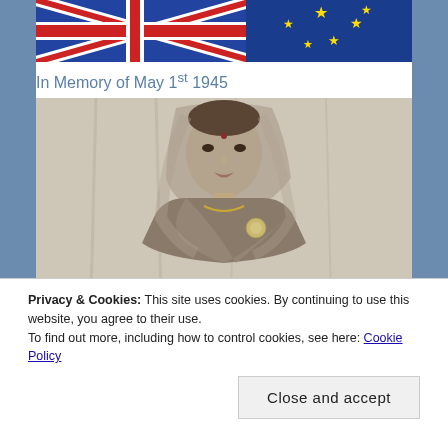[Figure (photo): Flags photo showing UK Union Jack flag and EU flag with yellow stars on blue background, partially cropped at top]
In Memory of May 1st 1945
[Figure (photo): Black and white portrait photograph of a South Asian woman wearing a sari and veil (dupatta), with a bindi on her forehead, looking directly at camera]
Privacy & Cookies: This site uses cookies. By continuing to use this website, you agree to their use.
To find out more, including how to control cookies, see here: Cookie Policy
Close and accept